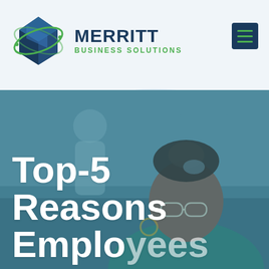[Figure (logo): Merritt Business Solutions logo with a blue cube/book graphic with green swirl, company name in dark navy and green]
[Figure (photo): Hero section with blurred office background showing two professionals, foreground shows a smiling Black woman with glasses and locs, wearing a teal top, with a blue-green color overlay]
Top-5 Reasons Employees